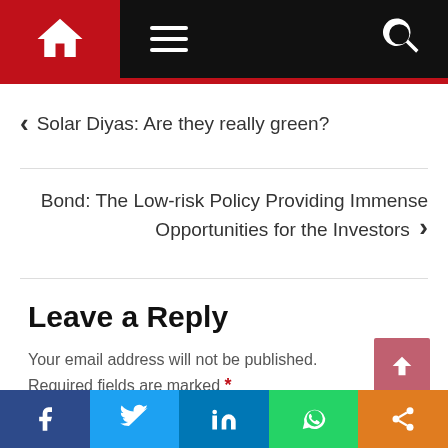Navigation bar with home icon, menu, and search
‹ Solar Diyas: Are they really green?
Bond: The Low-risk Policy Providing Immense Opportunities for the Investors ›
Leave a Reply
Your email address will not be published. Required fields are marked *
Social share bar: Facebook, Twitter, LinkedIn, WhatsApp, Share